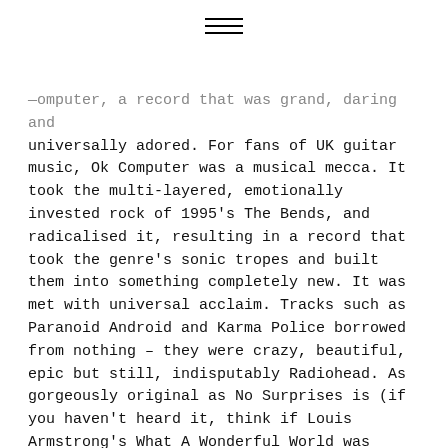— (three horizontal lines decorative header)
—omputer, a record that was grand, daring and universally adored. For fans of UK guitar music, Ok Computer was a musical mecca. It took the multi-layered, emotionally invested rock of 1995's The Bends, and radicalised it, resulting in a record that took the genre's sonic tropes and built them into something completely new. It was met with universal acclaim. Tracks such as Paranoid Android and Karma Police borrowed from nothing – they were crazy, beautiful, epic but still, indisputably Radiohead. As gorgeously original as No Surprises is (if you haven't heard it, think if Louis Armstrong's What A Wonderful World was about suicide), you could still see Fake Plastic Trees in there (if What A Wonderful World was about, er – plastic.) No panic. Until Kid A happened.